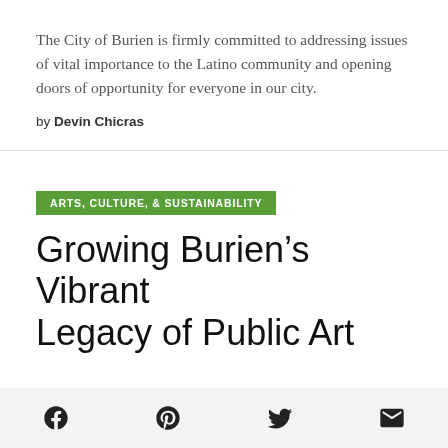The City of Burien is firmly committed to addressing issues of vital importance to the Latino community and opening doors of opportunity for everyone in our city.
by Devin Chicras
ARTS, CULTURE, & SUSTAINABILITY
Growing Burien’s Vibrant Legacy of Public Art
[Figure (other): Social sharing icons: Facebook, Pinterest, Twitter, Email]